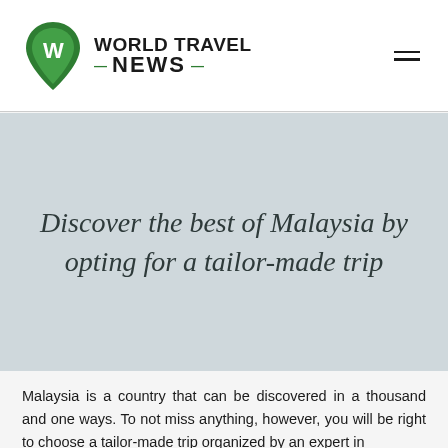[Figure (logo): World Travel News logo with green pin/W icon and bold text 'WORLD TRAVEL NEWS' with green dashes around 'NEWS']
Discover the best of Malaysia by opting for a tailor-made trip
Malaysia is a country that can be discovered in a thousand and one ways. To not miss anything, however, you will be right to choose a tailor-made trip organized by an expert in